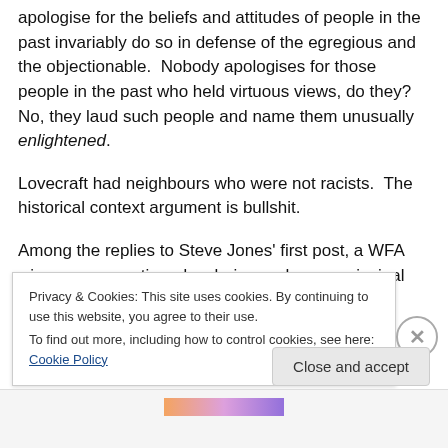apologise for the beliefs and attitudes of people in the past invariably do so in defense of the egregious and the objectionable.  Nobody apologises for those people in the past who held virtuous views, do they?  No, they laud such people and name them unusually enlightened.
Lovecraft had neighbours who were not racists.  The historical context argument is bullshit.
Among the replies to Steve Jones' first post, a WFA winner was mentioned as being perhaps a principal advocate for change in voicing her offense at the Lovecraft bust.
Privacy & Cookies: This site uses cookies. By continuing to use this website, you agree to their use.
To find out more, including how to control cookies, see here: Cookie Policy